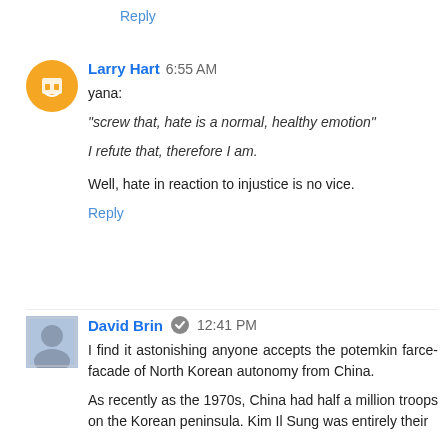Reply
Larry Hart 6:55 AM
yana:
"screw that, hate is a normal, healthy emotion"
I refute that, therefore I am.
Well, hate in reaction to injustice is no vice.
Reply
David Brin 12:41 PM
I find it astonishing anyone accepts the potemkin farce-facade of North Korean autonomy from China.
As recently as the 1970s, China had half a million troops on the Korean peninsula. Kim Il Sung was entirely their